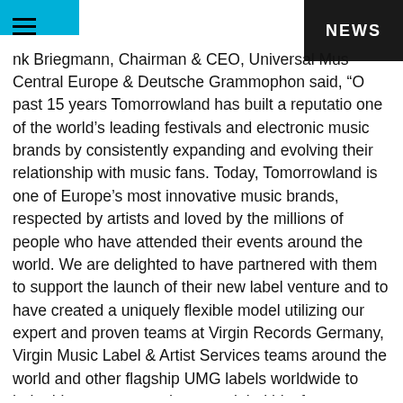NEWS
Frank Briegmann, Chairman & CEO, Universal Music Central Europe & Deutsche Grammophon said, "Over the past 15 years Tomorrowland has built a reputation as one of the world's leading festivals and electronic music brands by consistently expanding and evolving their relationship with music fans. Today, Tomorrowland is one of Europe's most innovative music brands, respected by artists and loved by the millions of people who have attended their events around the world. We are delighted to have partnered with them to support the launch of their new label venture and to have created a uniquely flexible model utilizing our expert and proven teams at Virgin Records Germany, Virgin Music Label & Artist Services teams around the world and other flagship UMG labels worldwide to help drive success and create global hits for Tomorrowland. We look forward to a very successful partnership together, and to further enhancing our ability to provide partners, labels and artists with new and innovative ways to achieve global success."